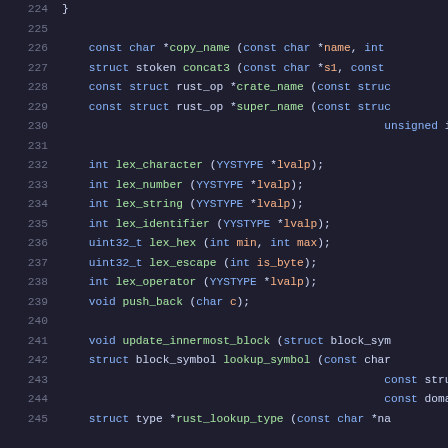Code listing lines 224-245, C function declarations
224    }
225    (blank)
226        const char *copy_name (const char *name, int
227        struct stoken concat3 (const char *s1, const
228        const struct rust_op *crate_name (const struc
229        const struct rust_op *super_name (const struc
230                                              unsigned in
231    (blank)
232        int lex_character (YYSTYPE *lvalp);
233        int lex_number (YYSTYPE *lvalp);
234        int lex_string (YYSTYPE *lvalp);
235        int lex_identifier (YYSTYPE *lvalp);
236        uint32_t lex_hex (int min, int max);
237        uint32_t lex_escape (int is_byte);
238        int lex_operator (YYSTYPE *lvalp);
239        void push_back (char c);
240    (blank)
241        void update_innermost_block (struct block_sym
242        struct block_symbol lookup_symbol (const char
243                                              const stru
244                                              const doma
245        struct type *rust_lookup_type (const char *na